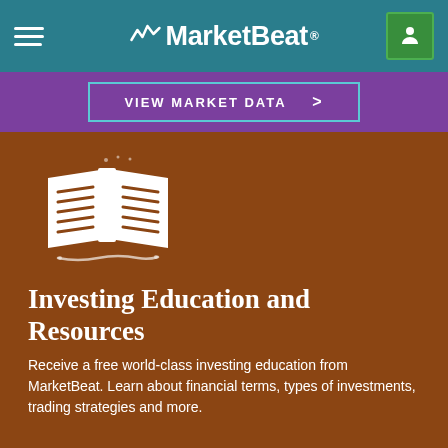MarketBeat
VIEW MARKET DATA >
[Figure (illustration): White open book icon with text lines and decorative swirl, on brown background]
Investing Education and Resources
Receive a free world-class investing education from MarketBeat. Learn about financial terms, types of investments, trading strategies and more.